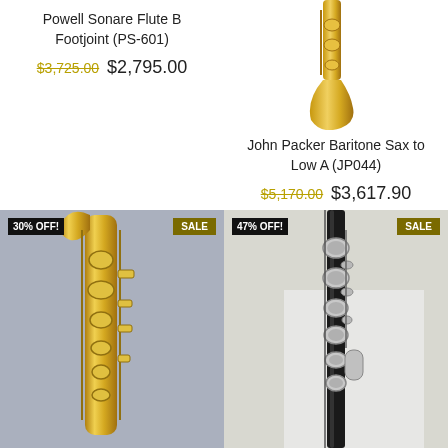Powell Sonare Flute B Footjoint (PS-601)
$3,725.00  $2,795.00
[Figure (photo): Gold-colored baritone saxophone footjoint/bell section]
John Packer Baritone Sax to Low A (JP044)
$5,170.00  $3,617.90
[Figure (photo): Gold saxophone (30% OFF! SALE badge)]
[Figure (photo): Black flute with silver keys (47% OFF! SALE badge)]